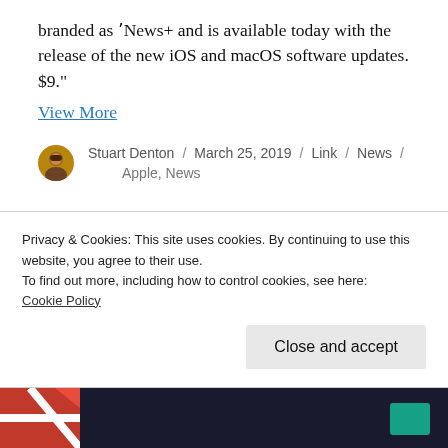branded as ‚News+ and is available today with the release of the new iOS and macOS software updates. $9.”
View More
Stuart Denton / March 25, 2019 / Link / News / Apple, News
How to stream Apple’s ‘It’s show time’ event on iPhone, iPad, Apple TV, and more
Privacy & Cookies: This site uses cookies. By continuing to use this website, you agree to their use.
To find out more, including how to control cookies, see here:
Cookie Policy
[Figure (photo): Partial bottom image strip showing Apple event imagery]